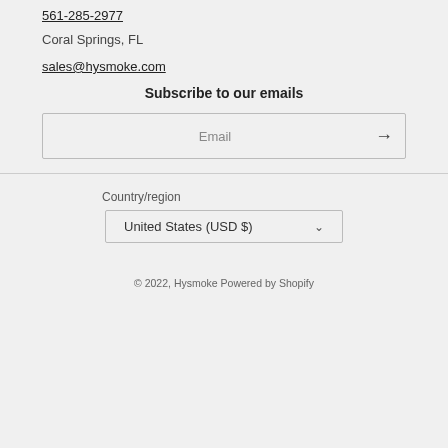561-285-2977
Coral Springs, FL
sales@hysmoke.com
Subscribe to our emails
Email
Country/region
United States (USD $)
© 2022, Hysmoke Powered by Shopify